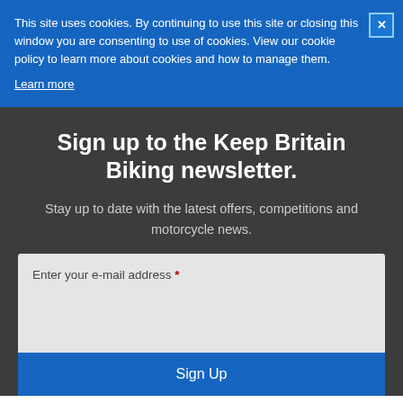This site uses cookies. By continuing to use this site or closing this window you are consenting to use of cookies. View our cookie policy to learn more about cookies and how to manage them.
Learn more
Sign up to the Keep Britain Biking newsletter.
Stay up to date with the latest offers, competitions and motorcycle news.
Enter your e-mail address *
Sign Up